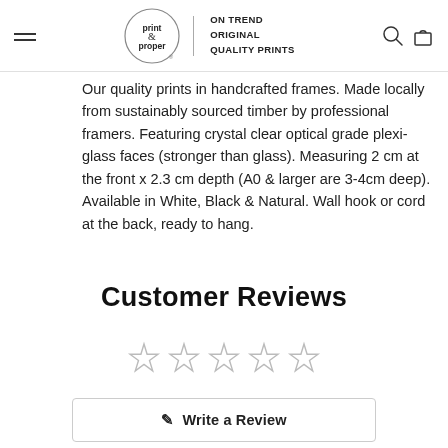print & proper | ON TREND ORIGINAL QUALITY PRINTS
Our quality prints in handcrafted frames. Made locally from sustainably sourced timber by professional framers. Featuring crystal clear optical grade plexi-glass faces (stronger than glass). Measuring 2 cm at the front x 2.3 cm depth (A0 & larger are 3-4cm deep). Available in White, Black & Natural. Wall hook or cord at the back, ready to hang.
Customer Reviews
[Figure (other): Five empty star rating icons indicating no reviews yet]
Write a Review